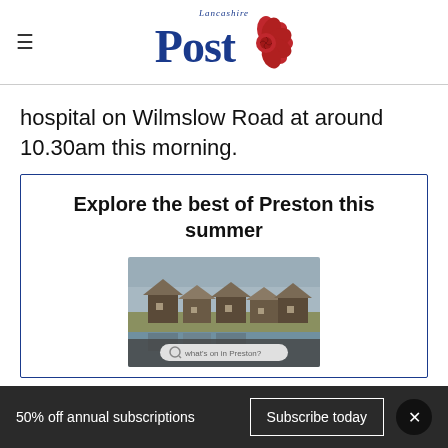Lancashire Post
hospital on Wilmslow Road at around 10.30am this morning.
Explore the best of Preston this summer
[Figure (photo): Photo of lakeside boat houses with thatched roofs and a search bar overlay reading 'what's on in Preston?']
50% off annual subscriptions  Subscribe today  ×